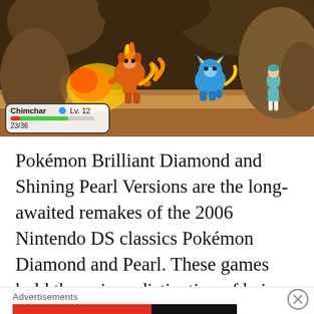[Figure (screenshot): Pokémon Brilliant Diamond/Shining Pearl battle scene showing Chimchar using a fire attack against Shinx, with a trainer character visible in the background. HUD shows Chimchar at Lv. 12 with HP 23/36.]
Pokémon Brilliant Diamond and Shining Pearl Versions are the long-awaited remakes of the 2006 Nintendo DS classics Pokémon Diamond and Pearl. These games hold the unique distinction of being the first main series Pokémon games to be made by a developer other than Game Freak with ILCA taking the wheel. These games stand as a faithful remake of Diamond and Pearl with some quality of life updates and modernization along with a few
Advertisements